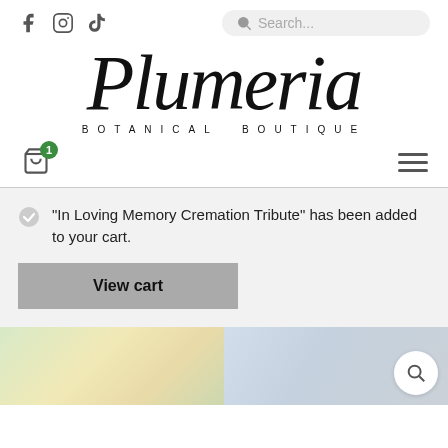Plumeria Botanical Boutique - Social icons: Facebook, Instagram, TikTok; Search bar
[Figure (logo): Plumeria Botanical Boutique script logo with 'BOTANICAL BOUTIQUE' in spaced caps below]
[Figure (screenshot): Navigation bar with shopping cart icon (badge: 1) and hamburger menu]
"In Loving Memory Cremation Tribute" has been added to your cart.
View cart
[Figure (photo): Two blurred product photos at the bottom of the page with a search magnifier button in the bottom right corner]